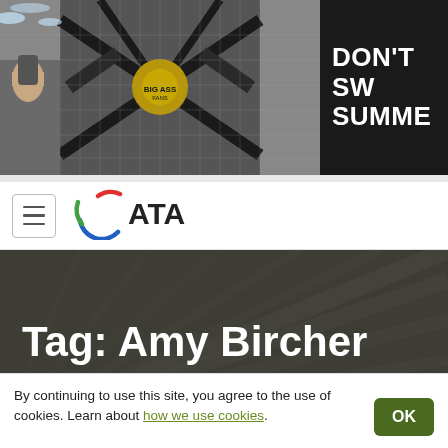[Figure (photo): Banner advertisement showing a large industrial fan (Big Ass Fans) with water misting, and dark panel with text 'DON'T SW SUMME' on the right side]
ATA logo with hamburger menu icon
Tag: Amy Bircher
By continuing to use this site, you agree to the use of cookies. Learn about how we use cookies.